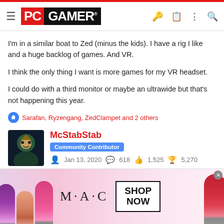PC GAMER
I'm in a similar boat to Zed (minus the kids). I have a rig I like and a huge backlog of games. And VR.
I think the only thing I want is more games for my VR headset.
I could do with a third monitor or maybe an ultrawide but that's not happening this year.
Sarafan, Ryzengang, ZedClampet and 2 others
McStabStab
Community Contributor
Jan 13, 2020  618  1,525  5,270
[Figure (screenshot): MAC cosmetics advertisement with lipsticks and SHOP NOW button]